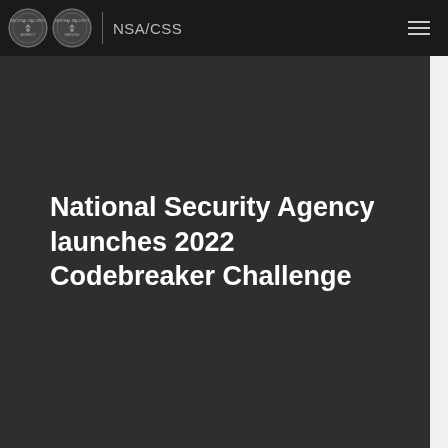NSA/CSS
National Security Agency launches 2022 Codebreaker Challenge